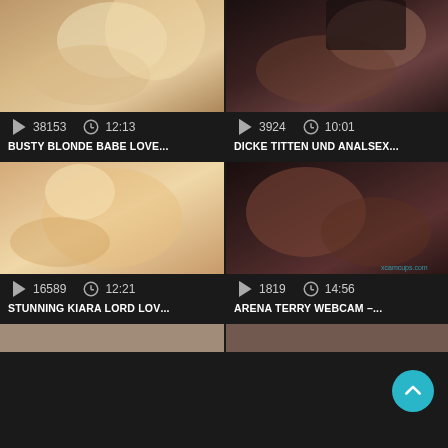[Figure (screenshot): Video thumbnail grid showing adult video website with 4 video cards in 2x2 layout, plus partial 5th and 6th at bottom. Each card shows thumbnail image, play icon, clock icon, view count, duration, and video title.]
38153  12:13  BUSTY BLONDE BABE LOVE...
3924  10:01  DICKE TITTEN UND ANALSEX...
16589  12:21  STUNNING KIARA LORD LOV...
1819  14:56  ARENA TERRY WEBCAM -...